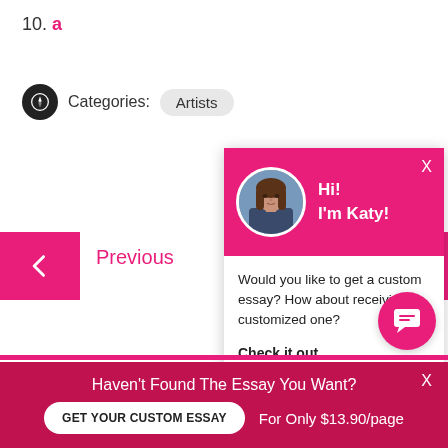10. a
Categories: Artists
[Figure (screenshot): Chat popup with pink header showing avatar photo of woman named Katy, greeting 'Hi! I'm Katy!', body text 'Would you like to get a custom essay? How about receiving a customized one?' with 'Check it out' link. Close X button in top right.]
Previous
Haven't Found The Essay You Want?
GET YOUR CUSTOM ESSAY
For Only $13.90/page